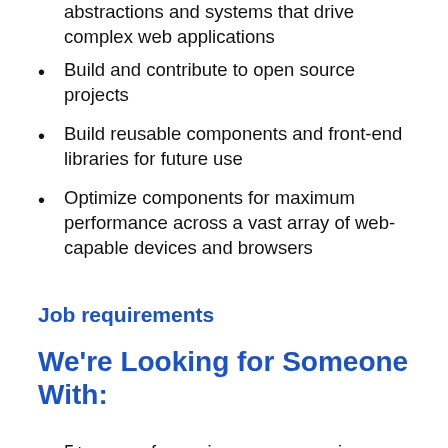abstractions and systems that drive complex web applications
Build and contribute to open source projects
Build reusable components and front-end libraries for future use
Optimize components for maximum performance across a vast array of web-capable devices and browsers
Job requirements
We're Looking for Someone With:
5+ years of experience as an engineer
Experience in building large-scale web applications in a fast-moving team